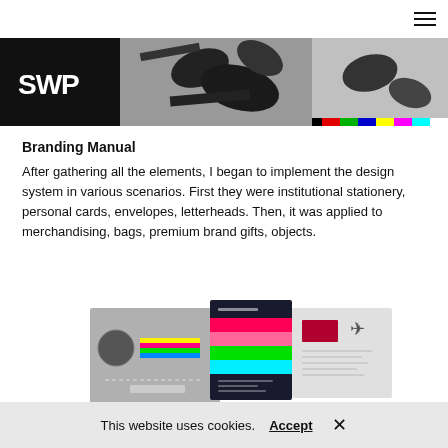☰ (hamburger menu icon)
[Figure (photo): Hero banner strip showing SWP logo on black background, abstract black and white graphic elements, and a color test bar strip on the right]
Branding Manual
After gathering all the elements, I began to implement the design system in various scenarios. First they were institutional stationery, personal cards, envelopes, letterheads. Then, it was applied to merchandising, bags, premium brand gifts, objects.
[Figure (photo): Branding manual mockup showing stationery items including cards with colorful horizontal stripes (dark navy, hot pink, light pink, green, cyan), a globe graphic, airplane icon, and business cards on a gray background]
This website uses cookies.
Accept
×